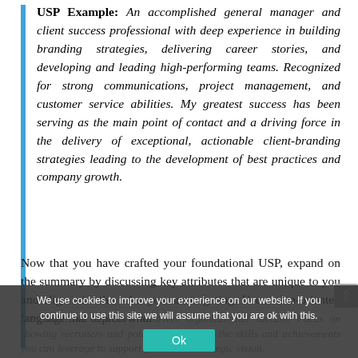USP Example: An accomplished general manager and client success professional with deep experience in building branding strategies, delivering career stories, and developing and leading high-performing teams. Recognized for strong communications, project management, and customer service abilities. My greatest success has been serving as the main point of contact and a driving force in the delivery of exceptional, actionable client-branding strategies leading to the development of best practices and company growth.
Now that you have crafted your foundational USP, expand on the summary by discussing key attributes that are unique to you and align with the roles you are targeting. Use action-oriented language that depicts what you contribute and how it drives organizational success. Focus on showing recruiters and potential employers the skills and achievements you can leverage to support growth and strategic vision.
We use cookies to improve your experience on our website. If you continue to use this site we will assume that you are ok with this.